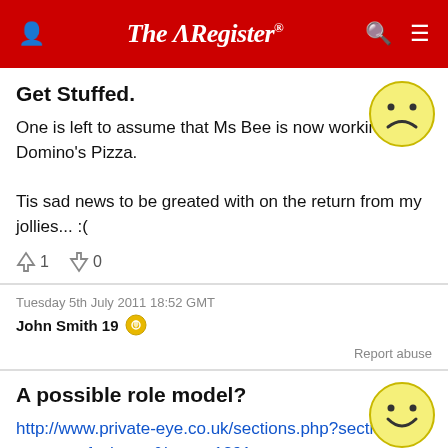The Register
Get Stuffed.
One is left to assume that Ms Bee is now working for Domino's Pizza.

Tis sad news to be greated with on the return from my jollies... :(
↑1  ↓0
Tuesday 5th July 2011 18:52 GMT
John Smith 19
Report abuse
A possible role model?
http://www.private-eye.co.uk/sections.php?section_link=street_of_shame&issue=1291
↑0  ↓0